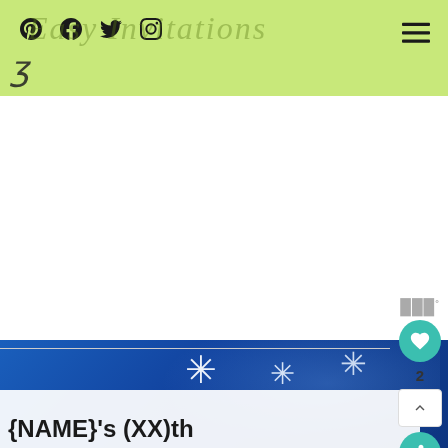Easy Invitations
[Figure (screenshot): Website header bar with light green background, social media icons (Pinterest, Facebook, Twitter, Instagram), Easy Invitations logo in italic text, and hamburger menu icon on the right]
[Figure (photo): Blue winter/frozen themed background with white snowflake star decorations]
{NAME}'s (XX)th